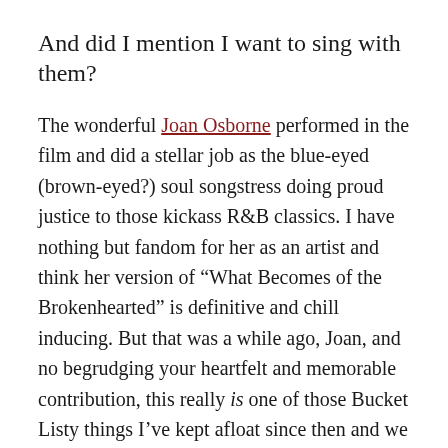And did I mention I want to sing with them?
The wonderful Joan Osborne performed in the film and did a stellar job as the blue-eyed (brown-eyed?) soul songstress doing proud justice to those kickass R&B classics. I have nothing but fandom for her as an artist and think her version of “What Becomes of the Brokenhearted” is definitive and chill inducing. But that was a while ago, Joan, and no begrudging your heartfelt and memorable contribution, this really is one of those Bucket Listy things I’ve kept afloat since then and we all know time’s a’flyin’ so forgive the nudge from a sister singer and please clear the stage!